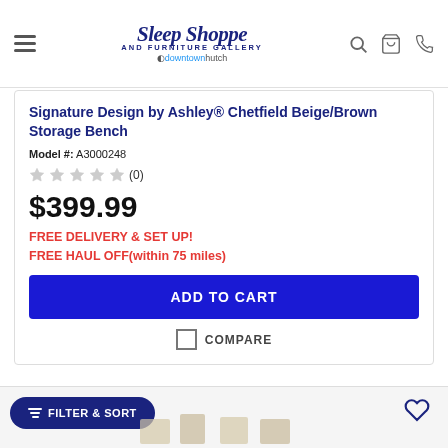Sleep Shoppe and Furniture Gallery — downtownhutch
Signature Design by Ashley® Chetfield Beige/Brown Storage Bench
Model #: A3000248
★★★★★ (0)
$399.99
FREE DELIVERY & SET UP!
FREE HAUL OFF(within 75 miles)
ADD TO CART
COMPARE
FILTER & SORT